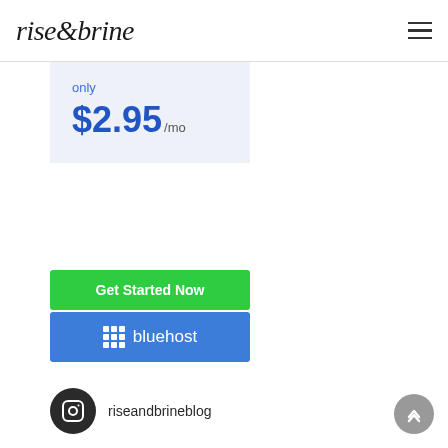rise&brine
only $2.95 /mo
Get Started Now
[Figure (logo): Bluehost logo button — blue rectangle with grid icon and 'bluehost' text in white]
[Figure (logo): Instagram icon circle with riseandbrineblog handle]